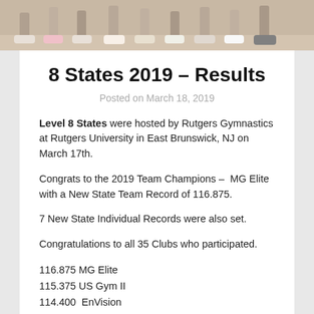[Figure (photo): Photo banner showing feet/shoes of multiple gymnasts standing together on a gymnasium floor]
8 States 2019 – Results
Posted on March 18, 2019
Level 8 States were hosted by Rutgers Gymnastics at Rutgers University in East Brunswick, NJ on March 17th.
Congrats to the 2019 Team Champions –  MG Elite with a New State Team Record of 116.875.
7 New State Individual Records were also set.
Congratulations to all 35 Clubs who participated.
116.875 MG Elite
115.375 US Gym II
114.400  EnVision